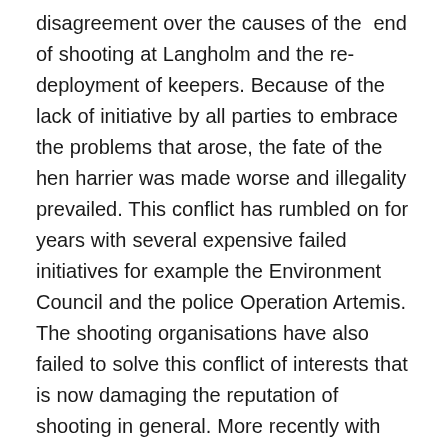disagreement over the causes of the end of shooting at Langholm and the re-deployment of keepers. Because of the lack of initiative by all parties to embrace the problems that arose, the fate of the hen harrier was made worse and illegality prevailed. This conflict has rumbled on for years with several expensive failed initiatives for example the Environment Council and the police Operation Artemis. The shooting organisations have also failed to solve this conflict of interests that is now damaging the reputation of shooting in general. More recently with the advent of social media, groups such as Raptor Persecution UK and Wild Justice have raised the profile of this ongoing issue to a point where DEFRA have stepped in with a six point plan to increase the number of hen harriers in England.
DEFRA have looked at all the issues, listened, and taken